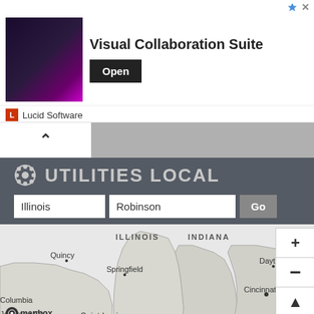[Figure (screenshot): Advertisement banner for Lucid Software Visual Collaboration Suite with image of person on dark background and Open button]
Lucid Software
[Figure (screenshot): Navigation bar with chevron/collapse button and gray bar]
[Figure (screenshot): Utilities Local website header with logo, state input (Illinois), city input (Robinson), and Go button]
[Figure (map): Mapbox map showing Illinois, Indiana, and surrounding states with cities labeled: Quincy, Springfield, Saint Louis, Columbia, Jefferson City, Dayton, Cincinnati, Frankfort, Evansville, MISSOURI, ILLINOIS, INDIANA. Map has zoom controls (+, -, arrow).]
Robinson, IL Utilities: Electricity, Gas & Solar